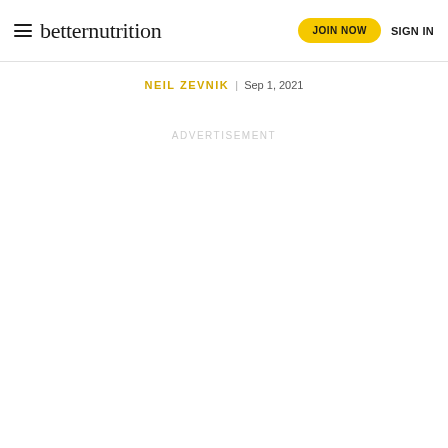betternutrition | JOIN NOW | SIGN IN
NEIL ZEVNIK | Sep 1, 2021
ADVERTISEMENT